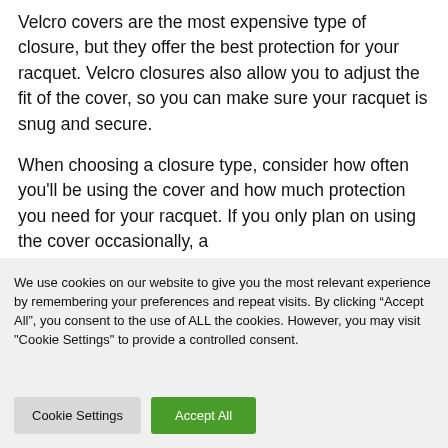Velcro covers are the most expensive type of closure, but they offer the best protection for your racquet. Velcro closures also allow you to adjust the fit of the cover, so you can make sure your racquet is snug and secure.
When choosing a closure type, consider how often you'll be using the cover and how much protection you need for your racquet. If you only plan on using the cover occasionally, a
We use cookies on our website to give you the most relevant experience by remembering your preferences and repeat visits. By clicking "Accept All", you consent to the use of ALL the cookies. However, you may visit "Cookie Settings" to provide a controlled consent.